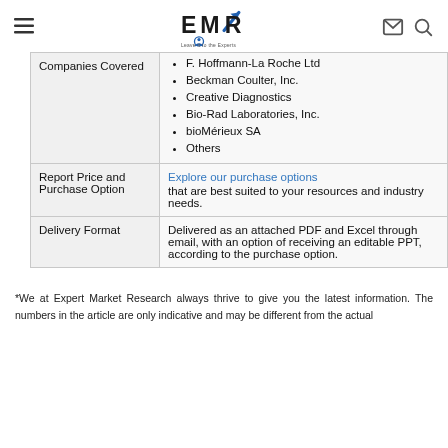EMR - Expert Market Research logo header with navigation icons
| Companies Covered | F. Hoffmann-La Roche Ltd
Beckman Coulter, Inc.
Creative Diagnostics
Bio-Rad Laboratories, Inc.
bioMérieux SA
Others |
| Report Price and Purchase Option | Explore our purchase options that are best suited to your resources and industry needs. |
| Delivery Format | Delivered as an attached PDF and Excel through email, with an option of receiving an editable PPT, according to the purchase option. |
*We at Expert Market Research always thrive to give you the latest information. The numbers in the article are only indicative and may be different from the actual